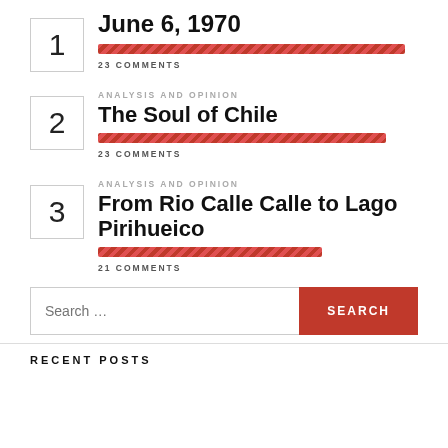1 — June 6, 1970 — 23 COMMENTS
2 — ANALYSIS AND OPINION — The Soul of Chile — 23 COMMENTS
3 — ANALYSIS AND OPINION — From Rio Calle Calle to Lago Pirihueico — 21 COMMENTS
Search...
RECENT POSTS